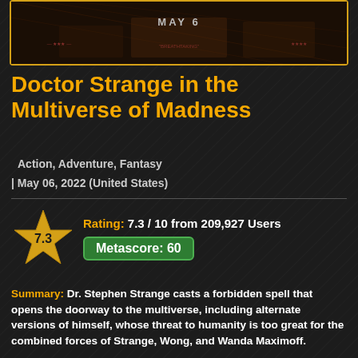[Figure (photo): Movie poster top portion showing 'MAY 6' text with dark cinematic background, framed with gold/orange border]
Doctor Strange in the Multiverse of Madness
Action, Adventure, Fantasy
| May 06, 2022 (United States)
Rating: 7.3 / 10 from 209,927 Users  Metascore: 60
Summary: Dr. Stephen Strange casts a forbidden spell that opens the doorway to the multiverse, including alternate versions of himself, whose threat to humanity is too great for the combined forces of Strange, Wong, and Wanda Maximoff.
Director: Sam Raimi
Writer: Michael Waldron, Stan Lee, Steve Ditko
Stars: Benedict Cumberbatch, Elizabeth Olsen, Chiwetel